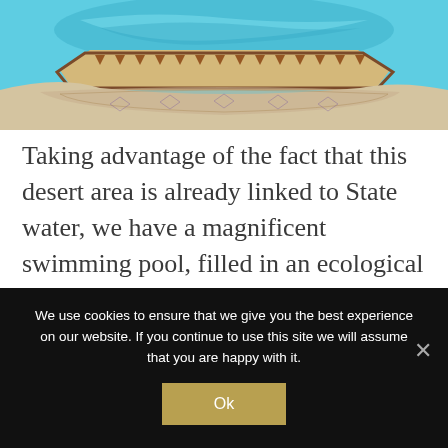[Figure (photo): Top portion of an ornate octagonal swimming pool with turquoise water, decorative tiled border with brown geometric patterns, and surrounding sand/desert ground]
Taking advantage of the fact that this desert area is already linked to State water, we have a magnificent swimming pool, filled in an ecological way and without withdrawing water from the groundwater that exists under the dunes.
We use cookies to ensure that we give you the best experience on our website. If you continue to use this site we will assume that you are happy with it.